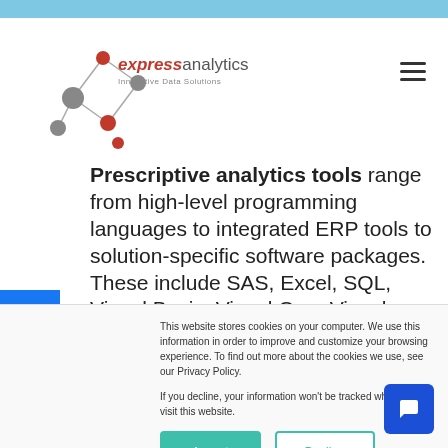expressanalytics - Innovative Data Solutions
Prescriptive analytics tools range from high-level programming languages to integrated ERP tools to solution-specific software packages. These include SAS, Excel, SQL, Visual Basic, Visual C++, Visual Basic for Applications (VBA), etc.
This website stores cookies on your computer. We use this information in order to improve and customize your browsing experience. To find out more about the cookies we use, see our Privacy Policy.

If you decline, your information won't be tracked when you visit this website.